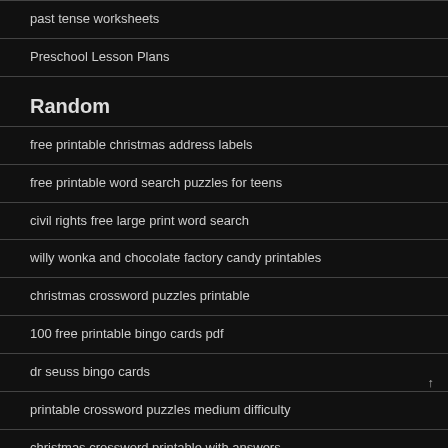past tense worksheets
Preschool Lesson Plans
Random
free printable christmas address labels
free printable word search puzzles for teens
civil rights free large print word search
willy wonka and chocolate factory candy printables
christmas crossword puzzles printable
100 free printable bingo cards pdf
dr seuss bingo cards
printable crossword puzzles medium difficulty
christmas crossword printable with answers